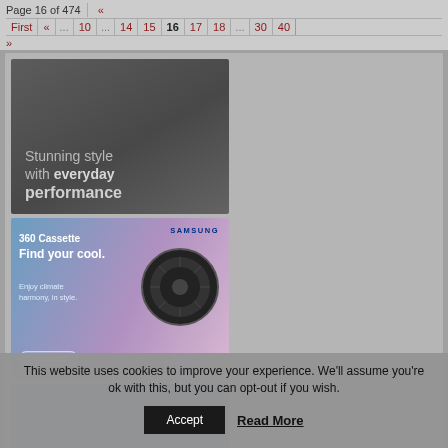Page 16 of 474  «  First  «  ...  10  ...  14  15  16  17  18  ...  30  40  »
[Figure (illustration): Advertisement banner with dark grey background showing text: 'Stunning style with everyday performance']
[Figure (illustration): Samsung 360 Cassette advertisement with gradient blue-pink background, circular cassette unit graphic, text: '360 Cassette Find your cool. Enjoy climate harmony, in style. READ MORE. SAMSUNG']
[Figure (photo): Partial view of a modern building interior with structural ceiling grid, blue-grey tones]
This website uses cookies to improve your experience. We'll assume you're ok with this, but you can opt-out if you wish.
Accept   Read More